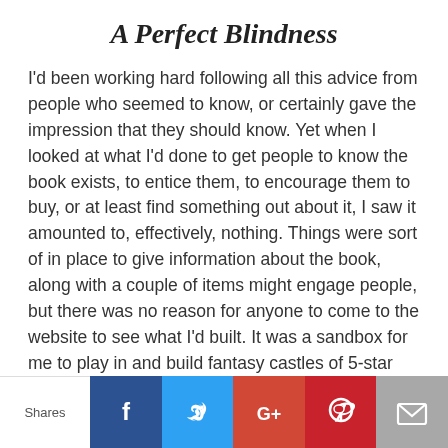A Perfect Blindness
I'd been working hard following all this advice from people who seemed to know, or certainly gave the impression that they should know. Yet when I looked at what I'd done to get people to know the book exists, to entice them, to encourage them to buy, or at least find something out about it, I saw it amounted to, effectively, nothing. Things were sort of in place to give information about the book, along with a couple of items might engage people, but there was no reason for anyone to come to the website to see what I'd built. It was a sandbox for me to play in and build fantasy castles of 5-star reviews and royalty checks that filled
[Figure (infographic): Social sharing bar with Shares label, Facebook, Twitter, Google+, Pinterest, and Email buttons]